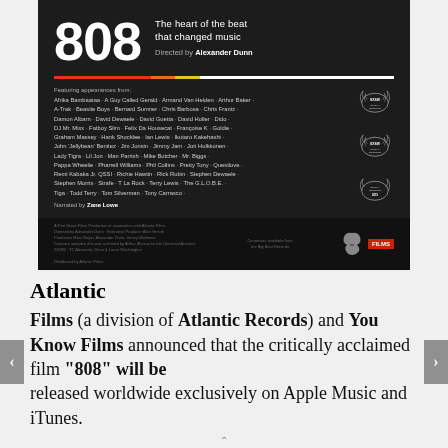[Figure (illustration): Movie poster for '808' documentary. Dark background with large '808' title, tagline 'The heart of the beat that changed music', directed by Alexander Dunn. Color bar across top. Names of featured artists. SXSW and other festival laurels on the right. Narrated by Zane Lowe. Production credits at bottom.]
Atlantic
Films (a division of Atlantic Records) and You Know Films announced that the critically acclaimed film "808" will be released worldwide exclusively on Apple Music and iTunes. "808" is dedicated to examining how the Roland drum machine changed modern music.